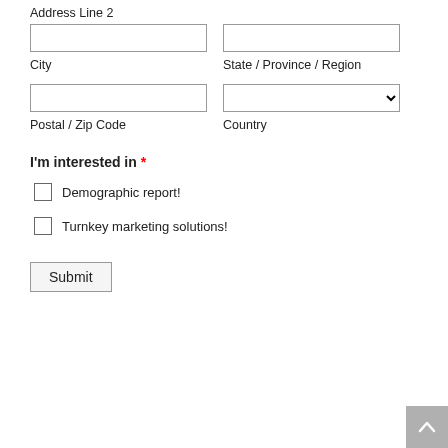Address Line 2
City
State / Province / Region
Postal / Zip Code
Country
I'm interested in *
Demographic report!
Turnkey marketing solutions!
Submit